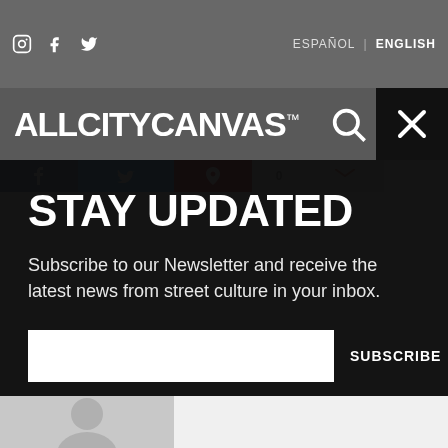ALLCITYCANVAS™  ESPAÑOL | ENGLISH
STAY UPDATED
Subscribe to our Newsletter and receive the latest news from street culture in your inbox.
SUBSCRIBE
[Figure (screenshot): Author/user avatar placeholder silhouette on grey background]